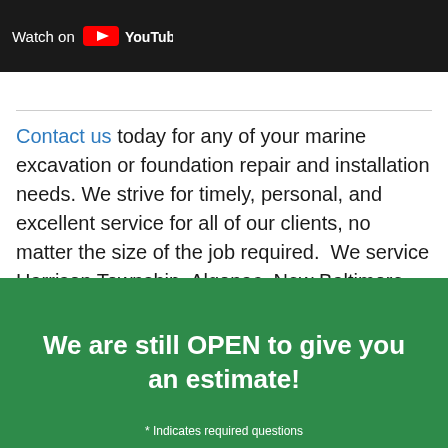[Figure (screenshot): YouTube watch bar at top of page with dark background, 'Watch on' text and YouTube logo]
Contact us today for any of your marine excavation or foundation repair and installation needs. We strive for timely, personal, and excellent service for all of our clients, no matter the size of the job required. We service Harrison Township, Algonac, New Baltimore, Saint Clair Shores, Macomb, Grosse Pointe, and the surrounding Southeast Michigan cities.
We are still OPEN to give you an estimate!
* Indicates required questions